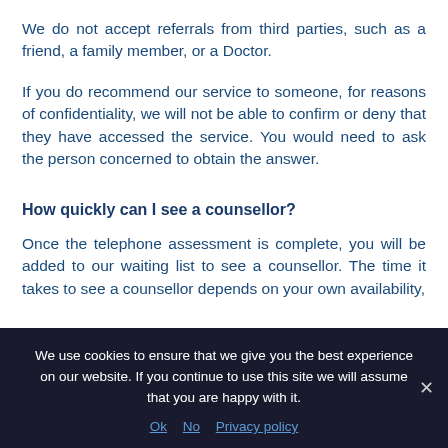We do not accept referrals from third parties, such as a friend, a family member, or a Doctor.
If you do recommend our service to someone, for reasons of confidentiality, we will not be able to confirm or deny that they have accessed the service. You would need to ask the person concerned to obtain the answer.
How quickly can I see a counsellor?
Once the telephone assessment is complete, you will be added to our waiting list to see a counsellor. The time it takes to see a counsellor depends on your own availability,
We use cookies to ensure that we give you the best experience on our website. If you continue to use this site we will assume that you are happy with it.